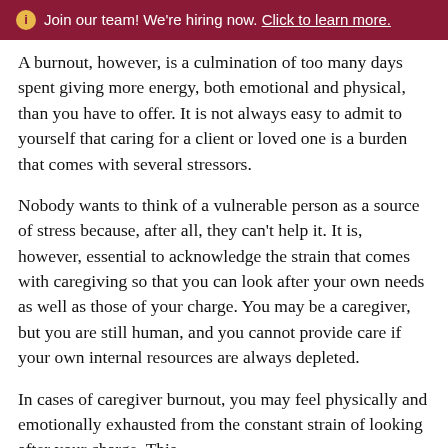ℹ Join our team! We're hiring now. Click to learn more.
A burnout, however, is a culmination of too many days spent giving more energy, both emotional and physical, than you have to offer. It is not always easy to admit to yourself that caring for a client or loved one is a burden that comes with several stressors.
Nobody wants to think of a vulnerable person as a source of stress because, after all, they can't help it. It is, however, essential to acknowledge the strain that comes with caregiving so that you can look after your own needs as well as those of your charge. You may be a caregiver, but you are still human, and you cannot provide care if your own internal resources are always depleted.
In cases of caregiver burnout, you may feel physically and emotionally exhausted from the constant strain of looking after your charge. This